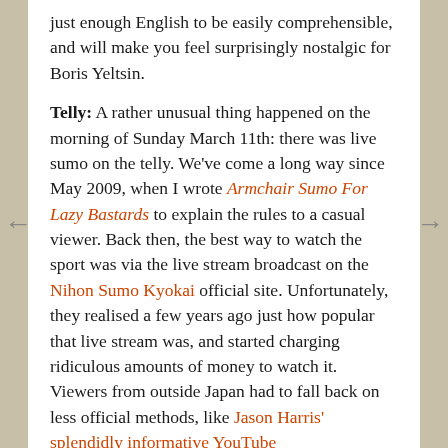just enough English to be easily comprehensible, and will make you feel surprisingly nostalgic for Boris Yeltsin.
Telly: A rather unusual thing happened on the morning of Sunday March 11th: there was live sumo on the telly. We've come a long way since May 2009, when I wrote Armchair Sumo For Lazy Bastards to explain the rules to a casual viewer. Back then, the best way to watch the sport was via the live stream broadcast on the Nihon Sumo Kyokai official site. Unfortunately, they realised a few years ago just how popular that live stream was, and started charging ridiculous amounts of money to watch it. Viewers from outside Japan had to fall back on less official methods, like Jason Harris' splendidly informative YouTube